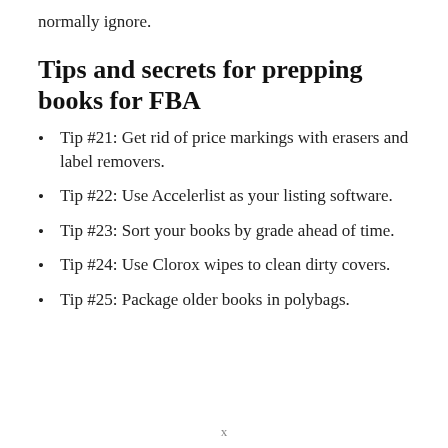normally ignore.
Tips and secrets for prepping books for FBA
Tip #21: Get rid of price markings with erasers and label removers.
Tip #22: Use Accelerlist as your listing software.
Tip #23: Sort your books by grade ahead of time.
Tip #24: Use Clorox wipes to clean dirty covers.
Tip #25: Package older books in polybags.
x